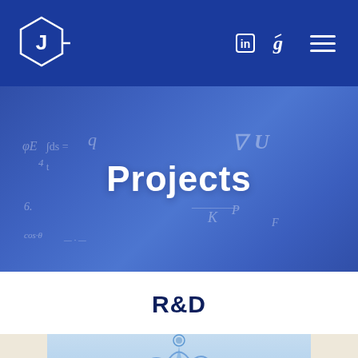[Figure (logo): J-Tech logo: hexagonal shape with J letter and TECH text, white on blue navigation bar]
J TECH
[Figure (photo): Hero banner with blue tinted overlay showing a hand writing mathematical equations on a whiteboard, with text 'Projects' overlaid in white bold]
Projects
R&D
[Figure (photo): Water droplet splash photo with light blue background, partially visible at bottom of page]